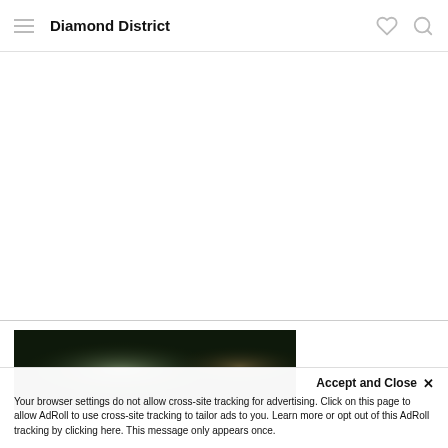Diamond District
[Figure (photo): Dark blurry photograph showing a dimly lit scene with green and amber light highlights against a dark background]
Accept and Close ×
Your browser settings do not allow cross-site tracking for advertising. Click on this page to allow AdRoll to use cross-site tracking to tailor ads to you. Learn more or opt out of this AdRoll tracking by clicking here. This message only appears once.